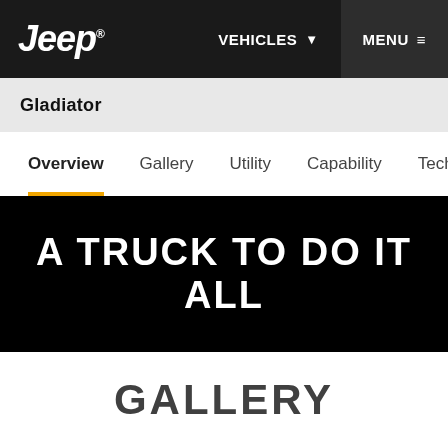Jeep® | VEHICLES ▼ | MENU ≡
Gladiator
Overview | Gallery | Utility | Capability | Technology | E
A TRUCK TO DO IT ALL
GALLERY